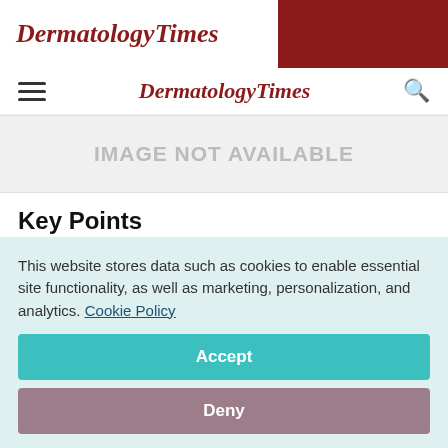DermatologyTimes
DermatologyTimes
[Figure (other): IMAGE NOT AVAILABLE placeholder]
Key Points
Chicago - Cutting-edge experimental therapies are
This website stores data such as cookies to enable essential site functionality, as well as marketing, personalization, and analytics. Cookie Policy
Accept
Deny